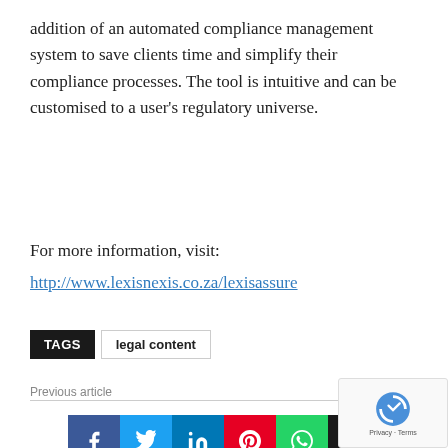addition of an automated compliance management system to save clients time and simplify their compliance processes. The tool is intuitive and can be customised to a user's regulatory universe.
For more information, visit:
http://www.lexisnexis.co.za/lexisassure
TAGS   legal content
[Figure (other): Social sharing buttons: Facebook, Twitter, LinkedIn, Pinterest, WhatsApp, Email]
Previous article
Business Advice for Law Firms: 100 Billable Hours...
Next article
Canon bolsters print offering for small and...